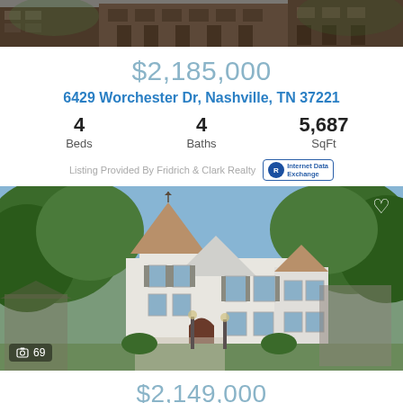[Figure (photo): Top banner photo of a brick building exterior, partially visible]
$2,185,000
6429 Worchester Dr, Nashville, TN 37221
| Beds | Baths | SqFt |
| --- | --- | --- |
| 4 | 4 | 5,687 |
Listing Provided By Fridrich & Clark Realty
[Figure (photo): Main listing photo of a large white Victorian-style home with pointed towers, arched front door, surrounded by lush trees. Shows 69 photos badge and heart/favorite icon.]
$2,149,000